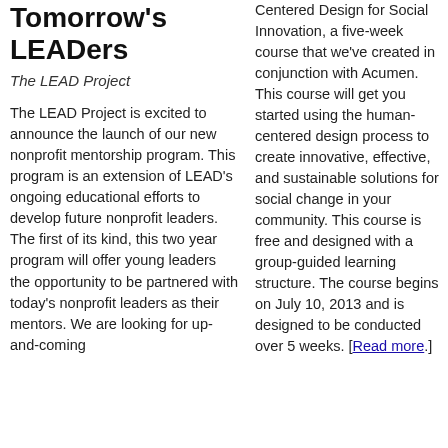Tomorrow's LEADers
The LEAD Project
The LEAD Project is excited to announce the launch of our new nonprofit mentorship program. This program is an extension of LEAD's ongoing educational efforts to develop future nonprofit leaders. The first of its kind, this two year program will offer young leaders the opportunity to be partnered with today's nonprofit leaders as their mentors. We are looking for up-and-coming
Centered Design for Social Innovation, a five-week course that we've created in conjunction with Acumen. This course will get you started using the human-centered design process to create innovative, effective, and sustainable solutions for social change in your community. This course is free and designed with a group-guided learning structure. The course begins on July 10, 2013 and is designed to be conducted over 5 weeks. [Read more.]
Inn Fix ab Mi ed cli ge pr ac Te Ti Su ar Mi wo th 20 Sm sh Am